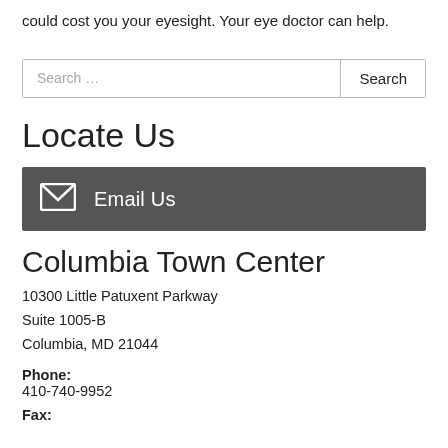could cost you your eyesight. Your eye doctor can help.
Search …
Locate Us
Email Us
Columbia Town Center
10300 Little Patuxent Parkway
Suite 1005-B
Columbia, MD 21044
Phone:
410-740-9952
Fax: